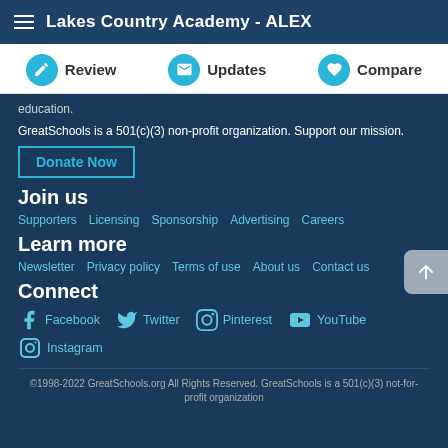Lakes Country Academy - ALEX
Review
Updates
Compare
education.
GreatSchools is a 501(c)(3) non-profit organization. Support our mission.
Donate Now
Join us
Supporters
Licensing
Sponsorship
Advertising
Careers
Learn more
Newsletter
Privacy policy
Terms of use
About us
Contact us
Connect
Facebook
Twitter
Pinterest
YouTube
Instagram
©1998-2022 GreatSchools.org All Rights Reserved. GreatSchools is a 501(c)(3) not-for-profit organization